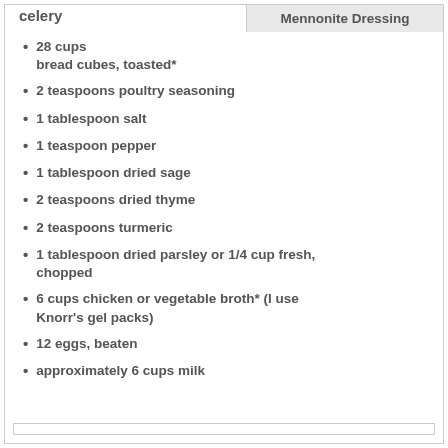celery
Mennonite Dressing
28 cups bread cubes, toasted*
2 teaspoons poultry seasoning
1 tablespoon salt
1 teaspoon pepper
1 tablespoon dried sage
2 teaspoons dried thyme
2 teaspoons turmeric
1 tablespoon dried parsley or 1/4 cup fresh, chopped
6 cups chicken or vegetable broth* (I use Knorr's gel packs)
12 eggs, beaten
approximately 6 cups milk